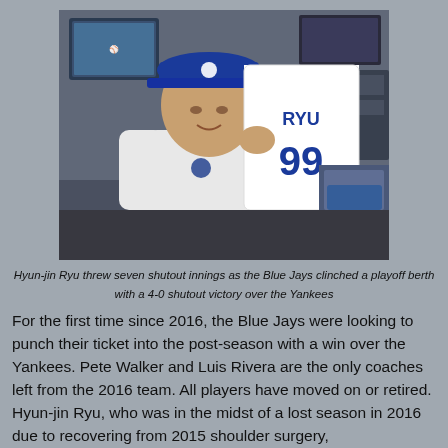[Figure (photo): Hyun-jin Ryu holding up a Toronto Blue Jays jersey with number 99 and name RYU, wearing a blue Blue Jays cap and white jacket, standing in what appears to be a locker room.]
Hyun-jin Ryu threw seven shutout innings as the Blue Jays clinched a playoff berth with a 4-0 shutout victory over the Yankees
For the first time since 2016, the Blue Jays were looking to punch their ticket into the post-season with a win over the Yankees. Pete Walker and Luis Rivera are the only coaches left from the 2016 team. All players have moved on or retired. Hyun-jin Ryu, who was in the midst of a lost season in 2016 due to recovering from 2015 shoulder surgery,